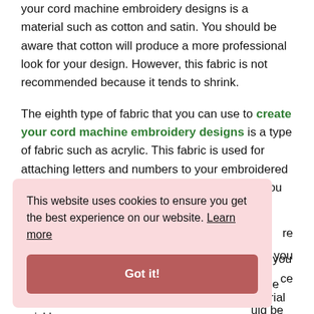your cord machine embroidery designs is a material such as cotton and satin. You should be aware that cotton will produce a more professional look for your design. However, this fabric is not recommended because it tends to shrink.

The eighth type of fabric that you can use to create your cord machine embroidery designs is a type of fabric such as acrylic. This fabric is used for attaching letters and numbers to your embroidered fabric. When you are using this type of fabric, you should be sure ... at you ... ce ... erial ... ould be aware of because this material is flimsy and will quickly
This website uses cookies to ensure you get the best experience on our website. Learn more
Got it!